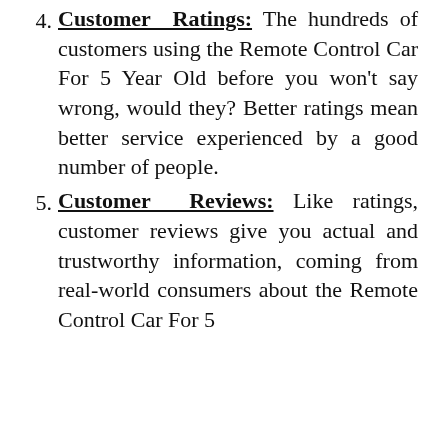Customer Ratings: The hundreds of customers using the Remote Control Car For 5 Year Old before you won't say wrong, would they? Better ratings mean better service experienced by a good number of people.
Customer Reviews: Like ratings, customer reviews give you actual and trustworthy information, coming from real-world consumers about the Remote Control Car For 5 Year Old and...